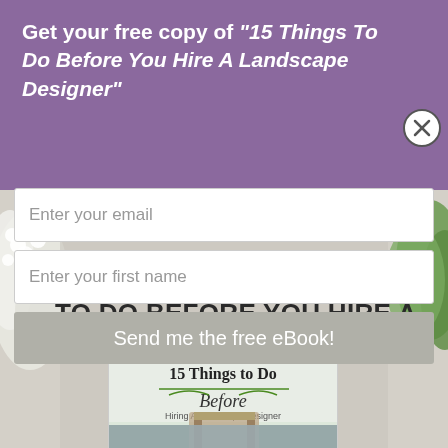Get your free copy of "15 Things To Do Before You Hire A Landscape Designer"
Enter your email
Enter your first name
Send me the free eBook!
TO DO BEFORE YOU HIRE A LANDSCAPE DESIGNER"
[Figure (illustration): Book cover titled '15 Things to Do Before Hiring A Landscape Designer' with a garden patio scene]
[Figure (photo): Garden background with white flowering plants on left and green foliage on right]